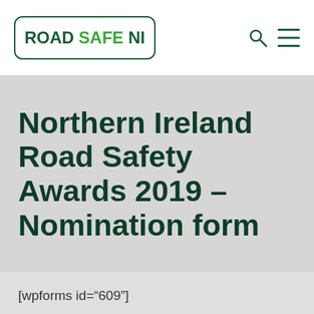ROAD SAFE NI
Northern Ireland Road Safety Awards 2019 – Nomination form
[wpforms id="609"]
USEFUL LINKS